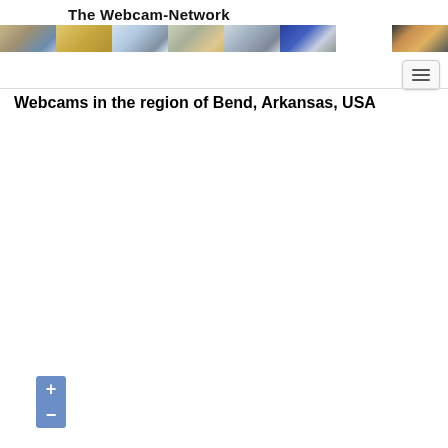The Webcam-Network
[Figure (photo): Panoramic banner strip of 8 webcam thumbnail images showing various world landmarks and landscapes]
Webcams in the region of Bend, Arkansas, USA
[Figure (map): Interactive map area showing the region of Bend, Arkansas, USA with zoom controls (+/-)]